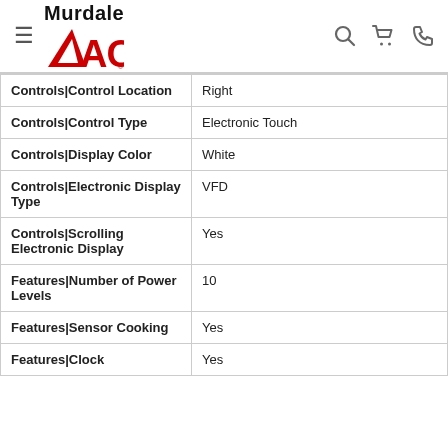Murdale ACE
| Attribute | Value |
| --- | --- |
| Controls|Control Location | Right |
| Controls|Control Type | Electronic Touch |
| Controls|Display Color | White |
| Controls|Electronic Display Type | VFD |
| Controls|Scrolling Electronic Display | Yes |
| Features|Number of Power Levels | 10 |
| Features|Sensor Cooking | Yes |
| Features|Clock | Yes |